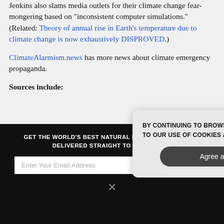Jenkins also slams media outlets for their climate change fear-mongering based on "inconsistent computer simulations." (Related: Theory of annual rise in Earth's temperature due to climate change is now exhaustively DISPROVED.)
ClimateAlarmism.news has more news about climate emergency propaganda.
Sources include:
[Figure (screenshot): Dark newsletter signup section with email input field and SUBSCRIBE button, overlaid with a cookie consent popup dialog saying 'BY CONTINUING TO BROWSE OUR SITE YOU AGREE TO OUR USE OF COOKIES AND OUR PRIVACY POLICY.' with an Agree and close button.]